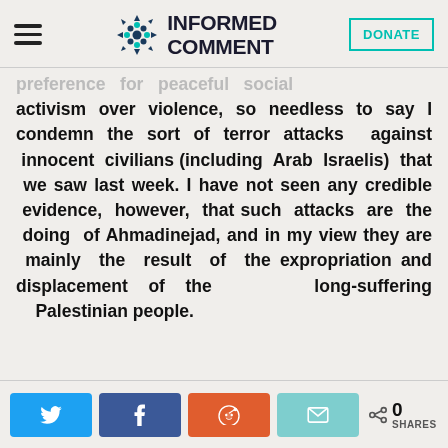INFORMED COMMENT
preference for peaceful social activism over violence, so needless to say I condemn the sort of terror attacks against innocent civilians (including Arab Israelis) that we saw last week. I have not seen any credible evidence, however, that such attacks are the doing of Ahmadinejad, and in my view they are mainly the result of the expropriation and displacement of the long-suffering Palestinian people.
0 SHARES